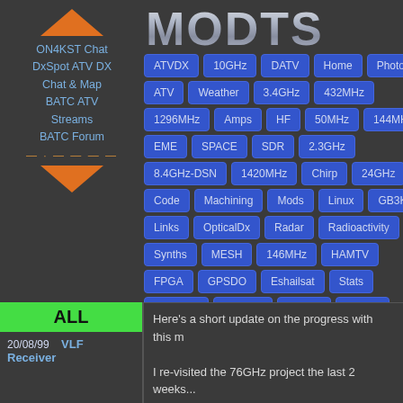[Figure (logo): Orange diamond/arrow logo shape]
ON4KST Chat
DxSpot ATV DX
Chat & Map
BATC ATV Streams
BATC Forum
MODTS
ATVDX
10GHz
DATV
Home
Photo
ATV
Weather
3.4GHz
432MHz
1296MHz
Amps
HF
50MHz
144MHz
EME
SPACE
SDR
2.3GHz
8.4GHz-DSN
1420MHz
Chirp
24GHz
Code
Machining
Mods
Linux
GB3K
Links
OpticalDx
Radar
Radioactivity
Synths
MESH
146MHz
HAMTV
FPGA
GPSDO
Eshailsat
Stats
mmWave
134GHz
76GHz
70MHz
VLF
ALL
ALL
20/08/99   VLF Receiver
Here's a short update on the progress with this m
I re-visited the 76GHz project the last 2 weeks...